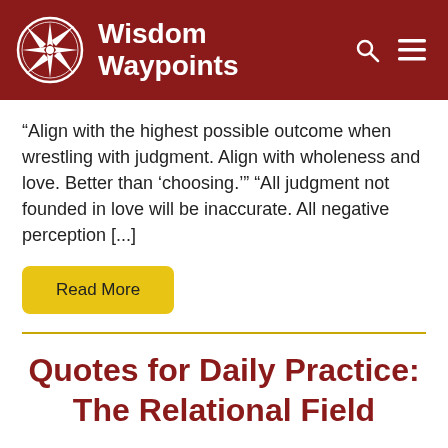Wisdom Waypoints
“Align with the highest possible outcome when wrestling with judgment. Align with wholeness and love. Better than ‘choosing.’” “All judgment not founded in love will be inaccurate. All negative perception [...]
Read More
Quotes for Daily Practice: The Relational Field